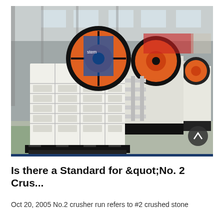[Figure (photo): Industrial jaw crushers on black base frames lined up in a large factory/warehouse setting. The machines are white with large orange and black flywheel pulleys on top. Multiple units visible in the background.]
Is there a Standard for &quot;No. 2 Crus...
Oct 20, 2005 No.2 crusher run refers to #2 crushed stone